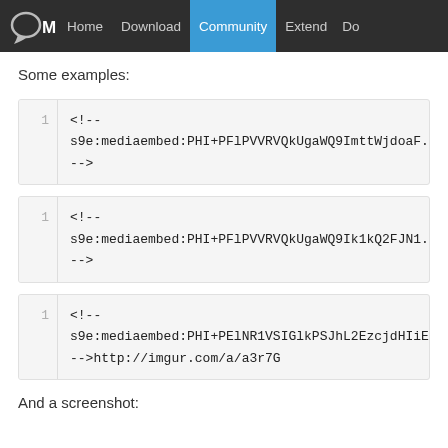[Figure (screenshot): MyBB website navigation bar with logo and links: Home, Download, Community (active/highlighted in blue), Extend, Do...]
Some examples:
<!--
s9e:mediaembed:PHI+PFlPVVRVQkUgaWQ9ImttWjdoaF...
-->
<!--
s9e:mediaembed:PHI+PFlPVVRVQkUgaWQ9Ik1kQ2FJN1...
-->
<!--
s9e:mediaembed:PHI+PElNR1VSIGlkPSJhL2EzcjdHIiE...
-->http://imgur.com/a/a3r7G
And a screenshot: